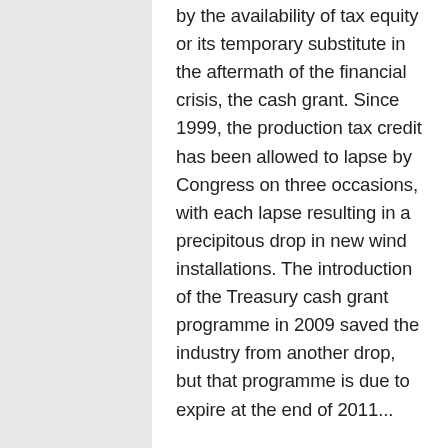by the availability of tax equity or its temporary substitute in the aftermath of the financial crisis, the cash grant. Since 1999, the production tax credit has been allowed to lapse by Congress on three occasions, with each lapse resulting in a precipitous drop in new wind installations. The introduction of the Treasury cash grant programme in 2009 saved the industry from another drop, but that programme is due to expire at the end of 2011...